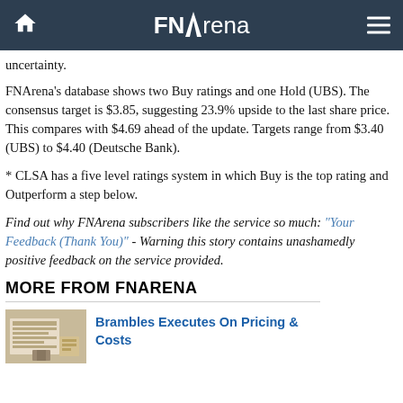FNArena
uncertainty.
FNArena's database shows two Buy ratings and one Hold (UBS). The consensus target is $3.85, suggesting 23.9% upside to the last share price. This compares with $4.69 ahead of the update. Targets range from $3.40 (UBS) to $4.40 (Deutsche Bank).
* CLSA has a five level ratings system in which Buy is the top rating and Outperform a step below.
Find out why FNArena subscribers like the service so much: "Your Feedback (Thank You)" - Warning this story contains unashamedly positive feedback on the service provided.
MORE FROM FNARENA
Brambles Executes On Pricing & Costs